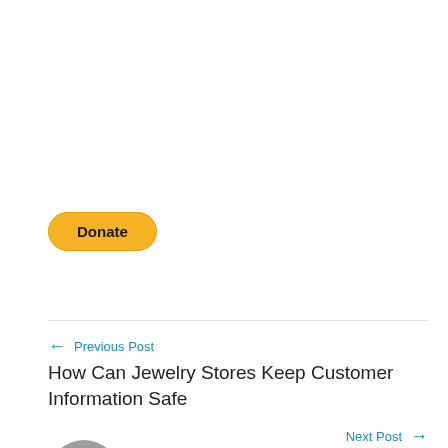[Figure (other): PayPal Donate button — yellow rounded rectangle with bold text 'Donate']
← Previous Post
How Can Jewelry Stores Keep Customer Information Safe
Next Post →
7 Tips for Hosting a Successful Virtual Event